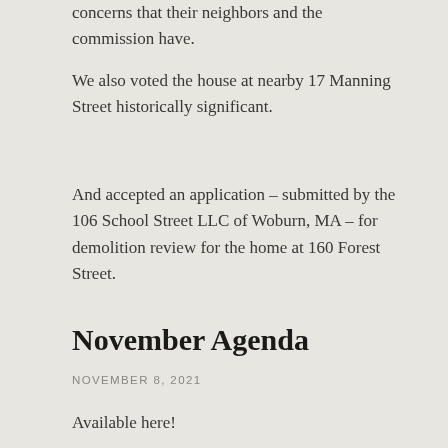concerns that their neighbors and the commission have.
We also voted the house at nearby 17 Manning Street historically significant.
And accepted an application – submitted by the 106 School Street LLC of Woburn, MA – for demolition review for the home at 160 Forest Street.
November Agenda
NOVEMBER 8, 2021
Available here!